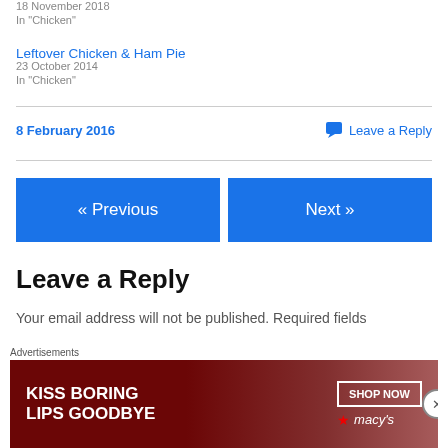18 November 2018
In "Chicken"
Leftover Chicken & Ham Pie
23 October 2014
In "Chicken"
8 February 2016
Leave a Reply
« Previous
Next »
Leave a Reply
Your email address will not be published. Required fields
[Figure (advertisement): Macy's advertisement: KISS BORING LIPS GOODBYE with SHOP NOW button and Macy's logo]